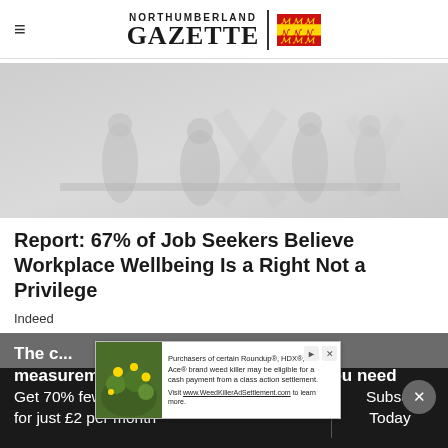NORTHUMBERLAND GAZETTE
[Figure (photo): Faded/light greyscale photo showing people in a workplace or outdoor setting, used as hero image for the article]
Report: 67% of Job Seekers Believe Workplace Wellbeing Is a Right Not a Privilege
Indeed
[Figure (other): Advertisement banner: 'Purchasers of certain Roundup®, HDX®, or Ace® brand weed killer may be eligible for a cash payment from a class action settlement. Visit www.WeedKillerAdSettlement.com to learn more.']
The c... measurements of the ingredients that you need
Get 70% fewer ads. Start your 2-month trial for just £2 per month
Subscribe Today